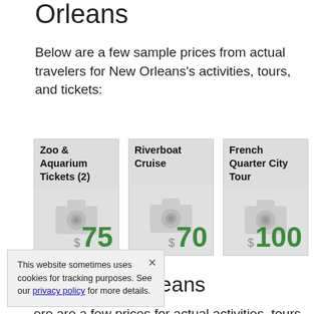Orleans
Below are a few sample prices from actual travelers for New Orleans's activities, tours, and tickets:
[Figure (infographic): Three cards showing activity prices: Zoo & Aquarium Tickets (2) $75, Riverboat Cruise $70, French Quarter City Tour $100]
es in New Orleans
ere are a few prices for actual activities, tours, and tickets provided
This website sometimes uses cookies for tracking purposes. See our privacy policy for more details.